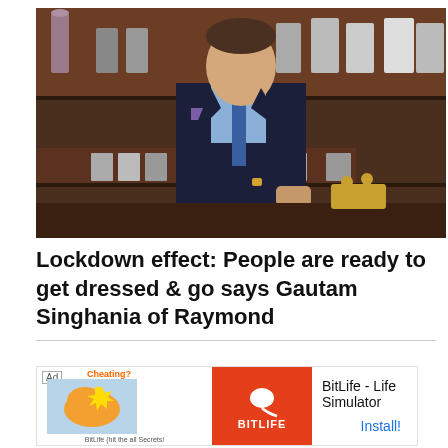[Figure (photo): A man in a dark navy suit with a blue patterned tie and purple pocket square stands in front of shelves displaying shirt collars and accessories. The setting appears to be a men's fashion retail store. A vintage telephone is visible in the background.]
Lockdown effect: People are ready to get dressed & go says Gautam Singhania of Raymond
[Figure (other): Advertisement banner for BitLife - Life Simulator app. Left section shows a cartoon muscle arm with 'Cheating?' text on a light blue/yellow background. Middle section is red with BitLife logo (sperm cell icon and BITLIFE text). Right section shows app name 'BitLife - Life Simulator' and Install button.]